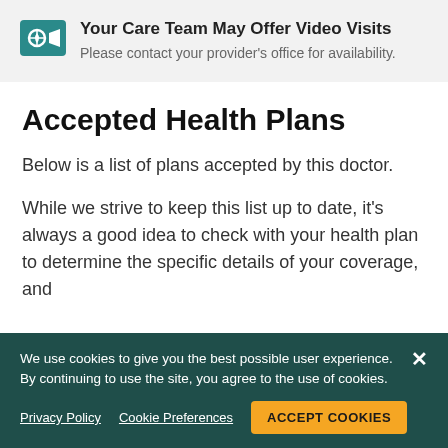Your Care Team May Offer Video Visits
Please contact your provider's office for availability.
Accepted Health Plans
Below is a list of plans accepted by this doctor.
While we strive to keep this list up to date, it's always a good idea to check with your health plan to determine the specific details of your coverage, and to contact the doctor's office to verify acceptance of
We use cookies to give you the best possible user experience. By continuing to use the site, you agree to the use of cookies.
Privacy Policy   Cookie Preferences   ACCEPT COOKIES